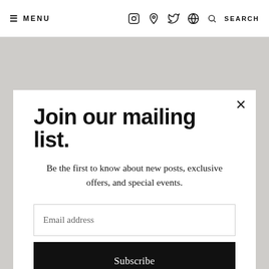≡ MENU   [instagram] [pinterest] [twitter] [globe] 🔍 SEARCH
Join our mailing list.
Be the first to know about new posts, exclusive offers, and special events.
Email address
Subscribe
routine. While not necessary, there will be times when your skin feels like it needs